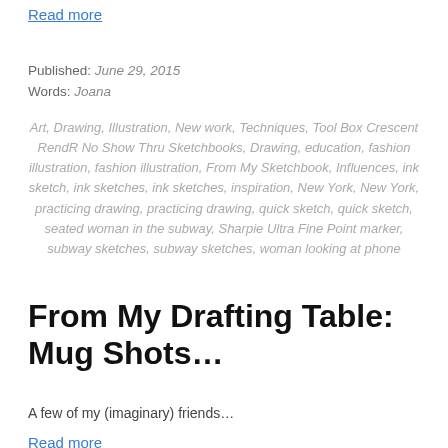Read more
Published: June 29, 2015
Words: Joana
Art, Drawing, Illustration, New work, Techniques, Tool Box Crescent RendR No Show Thru Sketchbooks, Drawing, education, fashion illustration, fashion illustration, From My Sketchbook, Influences, ink sketch, ink sketches, ink sketches, inspiration, New York, New York, practicing drawing, practicing drawing, quick sketch, quick sketch, seated woman in the subway, Sharpie Ultra Fine Point marker, subway sketches, subway sketches, woman looking at phone
From My Drafting Table: Mug Shots…
A few of my (imaginary) friends…
Read more